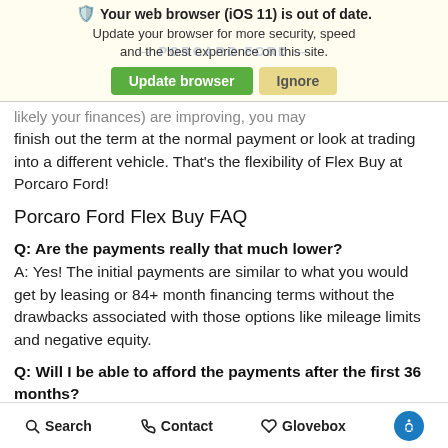[Figure (screenshot): Browser update warning banner with iOS 11 out of date message, Update browser and Ignore buttons, and Porcaro Ford watermark]
likely your finances) are improving, you may finish out the term at the normal payment or look at trading into a different vehicle. That's the flexibility of Flex Buy at Porcaro Ford!
Porcaro Ford Flex Buy FAQ
Q: Are the payments really that much lower?
A: Yes! The initial payments are similar to what you would get by leasing or 84+ month financing terms without the drawbacks associated with those options like mileage limits and negative equity.
Q: Will I be able to afford the payments after the first 36 months?
A: You will know upfront exactly what your payments will be after the first 36 months. And
Search   Contact   Glovebox